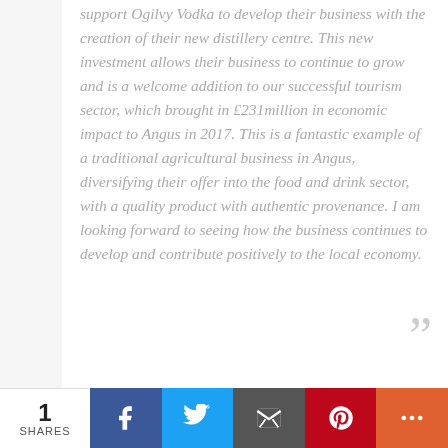support Ogilvy Vodka to develop their business with the creation of their new distillery centre. This new investment allows their business to continue to grow and is a welcome addition to our successful tourism sector, which brought in £231million in economic impact to Angus in 2017. This is a fantastic example of a traditional agricultural business in Angus, diversifying their offer into the food and drink sector, with a quality product with authentic provenance. I am looking forward to seeing how the business continues to develop and contribute positively to the local economy.
Ogilvy Vodka is distributed to independent bottle
1 SHARES | Facebook | Twitter | Email | Pinterest | More